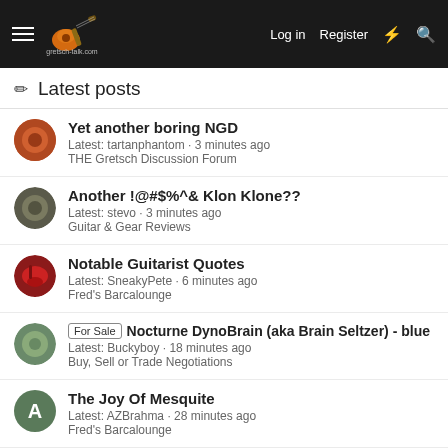gretsch-talk.com — Log in | Register
Latest posts
Yet another boring NGD
Latest: tartanphantom · 3 minutes ago
THE Gretsch Discussion Forum
Another !@#$%^& Klon Klone??
Latest: stevo · 3 minutes ago
Guitar & Gear Reviews
Notable Guitarist Quotes
Latest: SneakyPete · 6 minutes ago
Fred's Barcalounge
[For Sale] Nocturne DynoBrain (aka Brain Seltzer) - blue
Latest: Buckyboy · 18 minutes ago
Buy, Sell or Trade Negotiations
The Joy Of Mesquite
Latest: AZBrahma · 28 minutes ago
Fred's Barcalounge